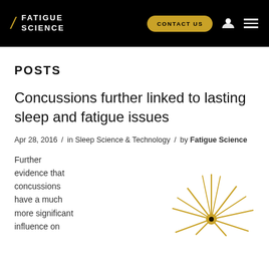FATIGUE SCIENCE | CONTACT US
POSTS
Concussions further linked to lasting sleep and fatigue issues
Apr 28, 2016 / in Sleep Science & Technology / by Fatigue Science
Further evidence that concussions have a much more significant influence on
[Figure (illustration): Gold/yellow starburst or spiky sun-like decorative graphic in the lower right of the article excerpt area]